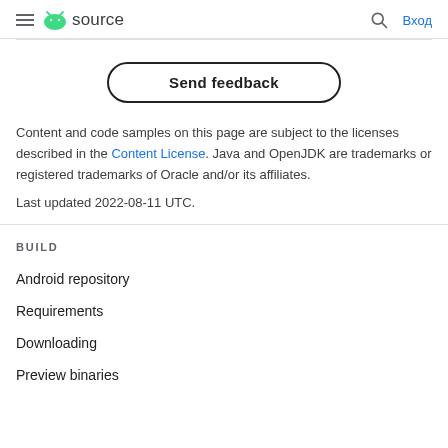≡ android source  🔍 Вход
[Figure (illustration): Send feedback button with rounded rectangle border]
Content and code samples on this page are subject to the licenses described in the Content License. Java and OpenJDK are trademarks or registered trademarks of Oracle and/or its affiliates.
Last updated 2022-08-11 UTC.
BUILD
Android repository
Requirements
Downloading
Preview binaries